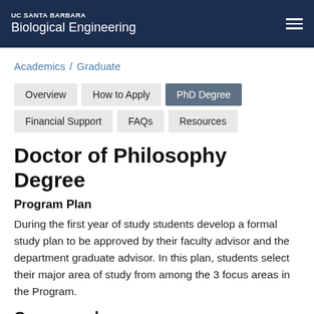UC SANTA BARBARA
Biological Engineering
Academics / Graduate
Overview | How to Apply | PhD Degree | Financial Support | FAQs | Resources
Doctor of Philosophy Degree
Program Plan
During the first year of study students develop a formal study plan to be approved by their faculty advisor and the department graduate advisor. In this plan, students select their major area of study from among the 3 focus areas in the Program.
Coursework